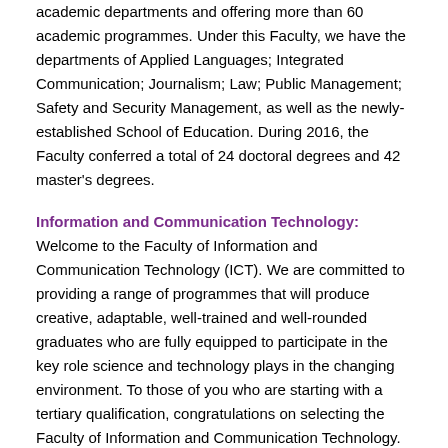academic departments and offering more than 60 academic programmes. Under this Faculty, we have the departments of Applied Languages; Integrated Communication; Journalism; Law; Public Management; Safety and Security Management, as well as the newly-established School of Education. During 2016, the Faculty conferred a total of 24 doctoral degrees and 42 master's degrees.
Information and Communication Technology: Welcome to the Faculty of Information and Communication Technology (ICT). We are committed to providing a range of programmes that will produce creative, adaptable, well-trained and well-rounded graduates who are fully equipped to participate in the key role science and technology plays in the changing environment. To those of you who are starting with a tertiary qualification, congratulations on selecting the Faculty of Information and Communication Technology. Over the years, we have demonstrated excellence in teaching and learning, and we are proud of